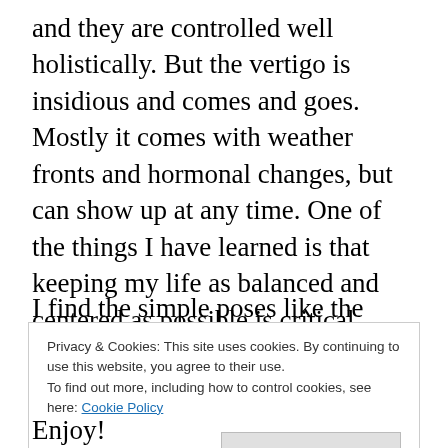and they are controlled well holistically.  But the vertigo is insidious and comes and goes.  Mostly it comes with weather fronts and hormonal changes, but can show up at any time.  One of the things I have learned is that keeping my life as balanced and centered as possible is critical.  When I get the false sensations I know it is a good time to do some Yoga poses and reflect on where there is imbalance.  Once I hone in on it I can make adjustments to get me back to a place of peace.  Often it is overwork that causes me to slow down and tweak my daily routines.
I find the simple poses like the lotus work best for me to
Privacy & Cookies: This site uses cookies. By continuing to use this website, you agree to their use.
To find out more, including how to control cookies, see here: Cookie Policy
Close and accept
Enjoy!